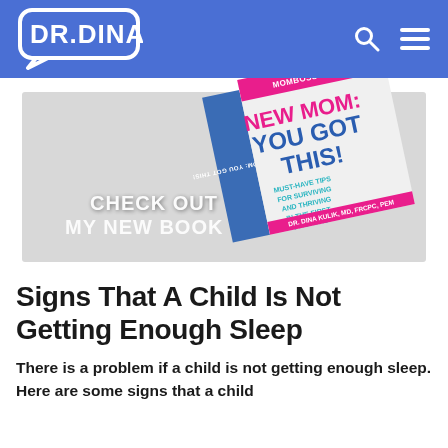DR.DINA
[Figure (photo): Book cover for 'New Mom: You Got This!' by Dr. Dina Kulik, MD, FRCPC, PEM. The book is shown at an angle with text 'CHECK OUT MY NEW BOOK' overlaid on the left side. The cover features pink and blue text and a photo of Dr. Dina Kulik in a blue top with a stethoscope.]
Signs That A Child Is Not Getting Enough Sleep
There is a problem if a child is not getting enough sleep. Here are some signs that a child